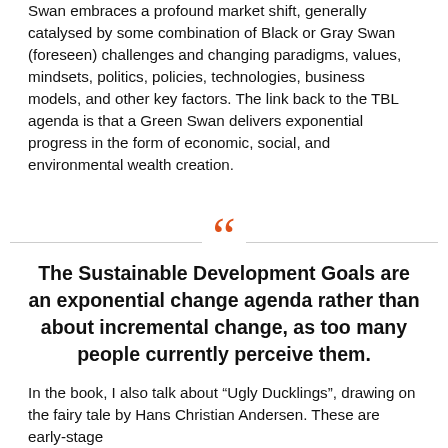Swan embraces a profound market shift, generally catalysed by some combination of Black or Gray Swan (foreseen) challenges and changing paradigms, values, mindsets, politics, policies, technologies, business models, and other key factors. The link back to the TBL agenda is that a Green Swan delivers exponential progress in the form of economic, social, and environmental wealth creation.
“The Sustainable Development Goals are an exponential change agenda rather than about incremental change, as too many people currently perceive them.
In the book, I also talk about “Ugly Ducklings”, drawing on the fairy tale by Hans Christian Andersen. These are early-stage